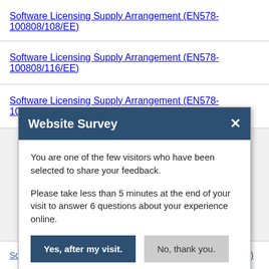Software Licensing Supply Arrangement (EN578-100808/108/EE)
Software Licensing Supply Arrangement (EN578-100808/116/EE)
Software Licensing Supply Arrangement (EN578-100808/032/EE)
Website Survey
You are one of the few visitors who have been selected to share your feedback.
Please take less than 5 minutes at the end of your visit to answer 6 questions about your experience online.
Yes, after my visit.
No, thank you.
Software Licensing Supply Arrangement (EN578-100808/064/EE)